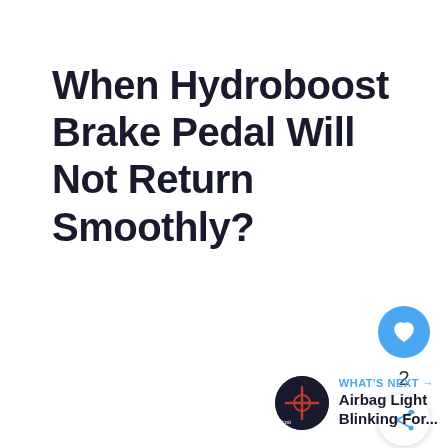When Hydroboost Brake Pedal Will Not Return Smoothly?
[Figure (illustration): Blue circular like/heart button with heart icon, count of 2 below it, and a white circular share button with share icon]
WHAT'S NEXT → Airbag Light Blinking For...